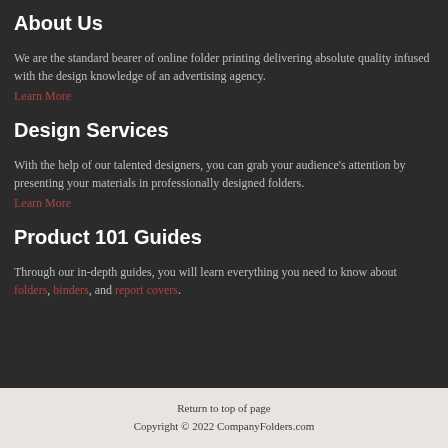About Us
We are the standard bearer of online folder printing delivering absolute quality infused with the design knowledge of an advertising agency.
Learn More
Design Services
With the help of our talented designers, you can grab your audience's attention by presenting your materials in professionally designed folders.
Learn More
Product 101 Guides
Through our in-depth guides, you will learn everything you need to know about folders, binders, and report covers.
Return to top of page
Copyright © 2022 CompanyFolders.com